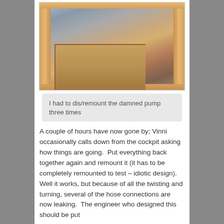[Figure (photo): Photo of a closet/wardrobe drawer with wooden frame, showing clothing items inside]
I had to dis/remount the damned pump three times
A couple of hours have now gone by; Vinni occasionally calls down from the cockpit asking how things are going.  Put everything back together again and remount it (it has to be completely remounted to test – idiotic design).  Well it works, but because of all the twisting and turning, several of the hose connections are now leaking.  The engineer who designed this should be put